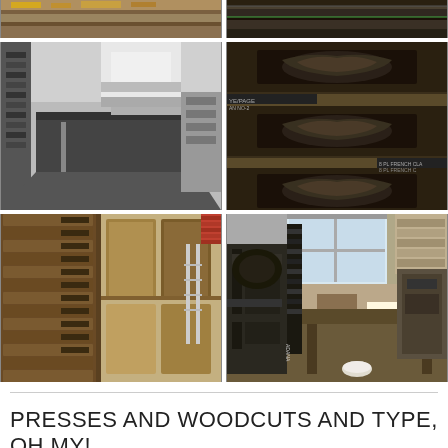[Figure (photo): Six photos arranged in a 2x3 grid showing a printmaking/letterpress shop: top row shows partial views of shelves with materials, middle row shows black-and-white photo of shop interior with long work table and ornate cast iron drawer pulls/type cabinets, bottom row shows rows of wooden type drawers/cabinets and a letterpress printing press machine in a workshop.]
PRESSES AND WOODCUTS AND TYPE, OH MY!
Our shop is located on the second floor of an old candy factory in